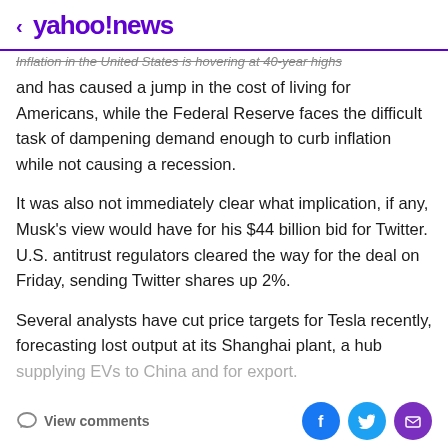< yahoo!news
Inflation in the United States is hovering at 40-year highs and has caused a jump in the cost of living for Americans, while the Federal Reserve faces the difficult task of dampening demand enough to curb inflation while not causing a recession.
It was also not immediately clear what implication, if any, Musk's view would have for his $44 billion bid for Twitter. U.S. antitrust regulators cleared the way for the deal on Friday, sending Twitter shares up 2%.
Several analysts have cut price targets for Tesla recently, forecasting lost output at its Shanghai plant, a hub supplying EVs to China and for export.
View comments | Facebook | Twitter | Mail